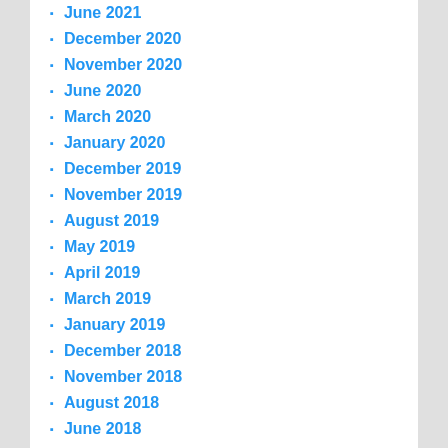June 2021
December 2020
November 2020
June 2020
March 2020
January 2020
December 2019
November 2019
August 2019
May 2019
April 2019
March 2019
January 2019
December 2018
November 2018
August 2018
June 2018
April 2018
February 2018
January 2018
December 2017
November 2017